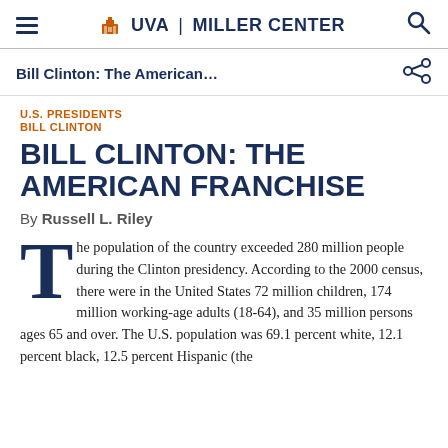UVA | MILLER CENTER
Bill Clinton: The American…
U.S. PRESIDENTS
BILL CLINTON
BILL CLINTON: THE AMERICAN FRANCHISE
By Russell L. Riley
The population of the country exceeded 280 million people during the Clinton presidency. According to the 2000 census, there were in the United States 72 million children, 174 million working-age adults (18-64), and 35 million persons ages 65 and over. The U.S. population was 69.1 percent white, 12.1 percent black, 12.5 percent Hispanic (the